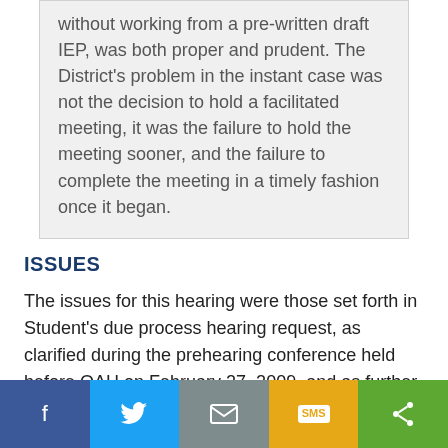without working from a pre-written draft IEP, was both proper and prudent. The District's problem in the instant case was not the decision to hold a facilitated meeting, it was the failure to hold the meeting sooner, and the failure to complete the meeting in a timely fashion once it began.
ISSUES
The issues for this hearing were those set forth in Student's due process hearing request, as clarified during the prehearing conference held before OAH on February 27, 2009, and as further clarified in a letter from Student's mother dated March 4, 2009: 2